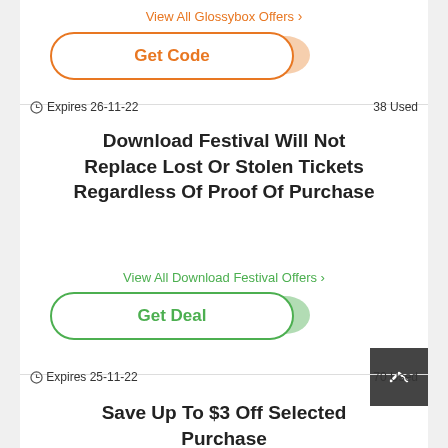View All Glossybox Offers >
[Figure (other): Get Code button with orange border and orange blob shape]
Expires 26-11-22    38 Used
Download Festival Will Not Replace Lost Or Stolen Tickets Regardless Of Proof Of Purchase
View All Download Festival Offers >
[Figure (other): Get Deal button with green border and green blob shape]
Expires 25-11-22    70 Used
Save Up To $3 Off Selected Purchase